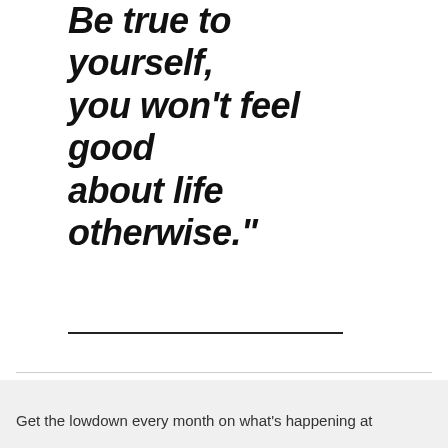Be true to yourself, you won't feel good about life otherwise."
Get the lowdown every month on what's happening at